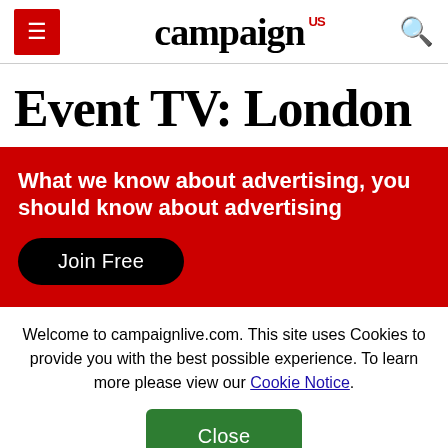campaign US
Event TV: London
What we know about advertising, you should know about advertising
Join Free
Welcome to campaignlive.com. This site uses Cookies to provide you with the best possible experience. To learn more please view our Cookie Notice.
Close